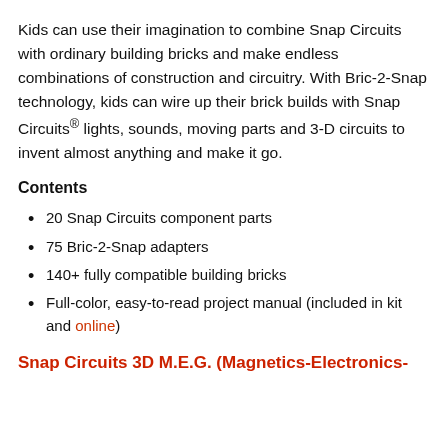Kids can use their imagination to combine Snap Circuits with ordinary building bricks and make endless combinations of construction and circuitry. With Bric-2-Snap technology, kids can wire up their brick builds with Snap Circuits® lights, sounds, moving parts and 3-D circuits to invent almost anything and make it go.
Contents
20 Snap Circuits component parts
75 Bric-2-Snap adapters
140+ fully compatible building bricks
Full-color, easy-to-read project manual (included in kit and online)
Snap Circuits 3D M.E.G. (Magnetics-Electronics-